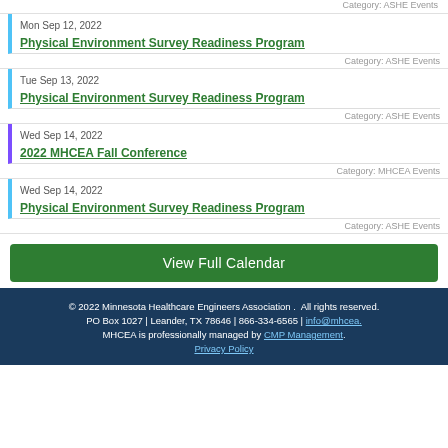Category: ASHE Events
Mon Sep 12, 2022 | Physical Environment Survey Readiness Program | Category: ASHE Events
Tue Sep 13, 2022 | Physical Environment Survey Readiness Program | Category: ASHE Events
Wed Sep 14, 2022 | 2022 MHCEA Fall Conference | Category: MHCEA Events
Wed Sep 14, 2022 | Physical Environment Survey Readiness Program | Category: ASHE Events
View Full Calendar
© 2022 Minnesota Healthcare Engineers Association . All rights reserved.
PO Box 1027 | Leander, TX 78646 | 866-334-6565 | info@mhcea.
MHCEA is professionally managed by CMP Management.
Privacy Policy